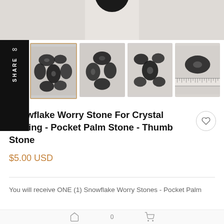[Figure (photo): Hero image of a dark snowflake obsidian stone against a light marble/grey background, partially cropped at top]
[Figure (photo): Row of four thumbnail images of snowflake obsidian worry stones on white/grey backgrounds; first thumbnail has a gold/tan border indicating selection; fourth shows stones next to a ruler for scale]
Snowflake Worry Stone For Crystal Healing - Pocket Palm Stone - Thumb Stone
$5.00 USD
You will receive ONE (1) Snowflake Worry Stones - Pocket Palm